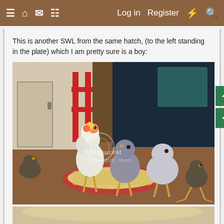≡  🏠  💬  📄    Log in   Register  ⚡  🔍
This is another SWL from the same hatch, (to the left standing in the plate) which I am pretty sure is a boy:
[Figure (photo): Several baby chicks (fluffy chicks/young chickens) standing in and around a food plate on a wooden floor. One white fluffy chick stands tall in the center-left, surrounded by grey and darker colored chicks. A Photobucket watermark is visible on the image. Red metal structure visible in background.]